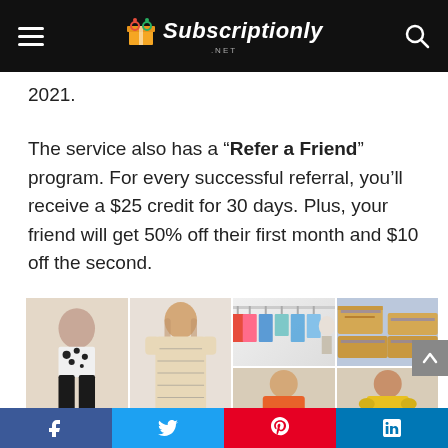Subscriptionly .NET
2021.
The service also has a “Refer a Friend” program. For every successful referral, you’ll receive a $25 credit for 30 days. Plus, your friend will get 50% off their first month and $10 off the second.
[Figure (photo): A collage of six images showing fashion clothing: a rack of colorful clothes, a woman in a black and white floral top with black wide-leg pants, shipping boxes, a woman in an orange blouse, a woman in a yellow top, and a woman in a floral printed dress.]
Social share bar: Facebook, Twitter, Pinterest, LinkedIn